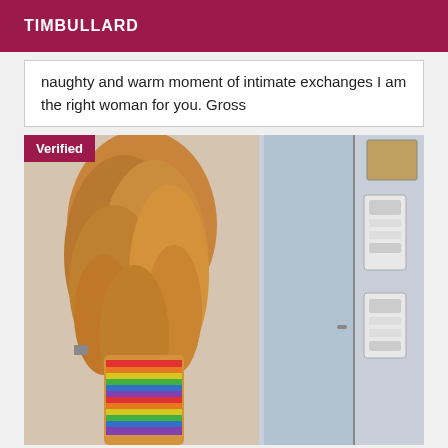TIMBULLARD
naughty and warm moment of intimate exchanges I am the right woman for you. Gross
[Figure (photo): Two-panel photo: left panel shows a woman with long curly blonde/auburn hair wearing a rainbow striped dress, photographed from behind; right panel shows an interior door area with intercom devices mounted on the wall. A 'Verified' badge overlays the top-left corner.]